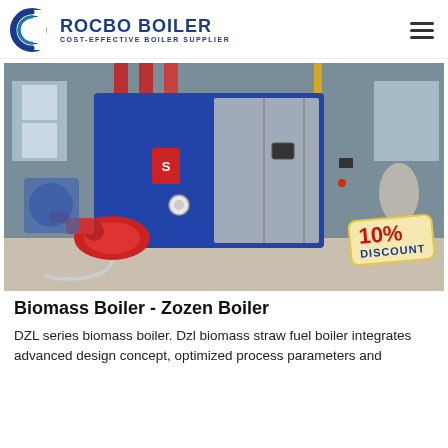ROCBO BOILER — COST-EFFECTIVE BOILER SUPPLIER
[Figure (photo): Industrial boiler unit (blue and silver casing with red burner) in a factory setting. A '10% DISCOUNT' badge appears in the lower right corner of the image.]
Biomass Boiler - Zozen Boiler
DZL series biomass boiler. Dzl biomass straw fuel boiler integrates advanced design concept, optimized process parameters and